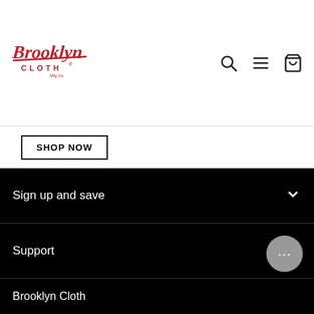[Figure (logo): Brooklyn Cloth Mfg Co. logo in red cursive script]
SHOP NOW
Sign up and save
Support
About Us
Men's Joggers
Brooklyn Cloth